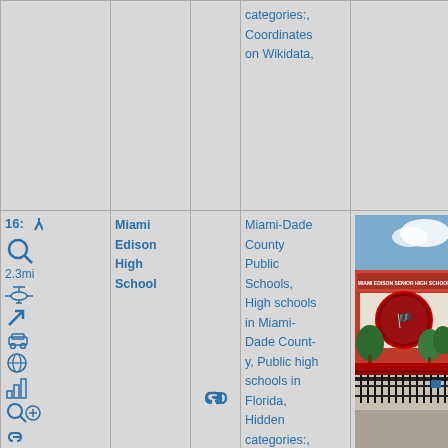| #/Distance/Icons | Name | Link | Categories | Photo |
| --- | --- | --- | --- | --- |
|  |  |  | categories:, Coordinates on Wikidata, |  |
| 16: 2.3mi [icons] | Miami Edison High School | [link] | Miami-Dade County Public Schools, High schools in Miami-Dade County, Public high schools in Florida, Hidden categories:, Articles to be merged from September 2014, All articles to be merged, Articles to be... | [photo of Miami Edison Senior High School] |
[Figure (photo): Exterior photo of Miami Edison Senior High School building with red and white facade, school signage reading 'MIAMI EDISON SENIOR HIGH SCHOOL', a school mascot/logo on the wall, trees, and black iron fence in front.]